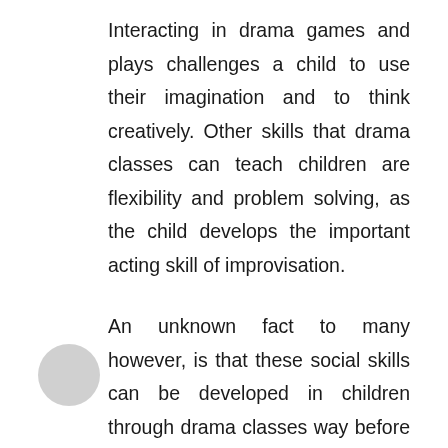Interacting in drama games and plays challenges a child to use their imagination and to think creatively. Other skills that drama classes can teach children are flexibility and problem solving, as the child develops the important acting skill of improvisation.

An unknown fact to many however, is that these social skills can be developed in children through drama classes way before kindergarten. Kids can start their drama classes at as early as three years of age. Starting a child in drama classes from such a young age, gives them the chance to develop their social skills so they can be well prepared for such an important stage of their